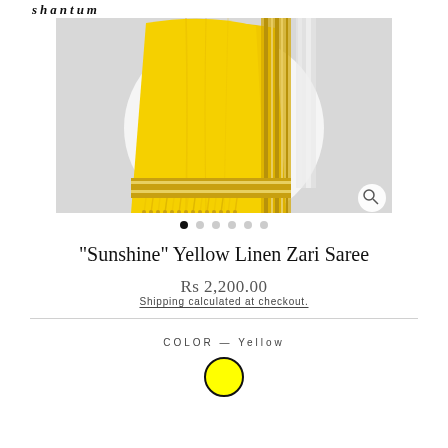shantum
[Figure (photo): Yellow linen zari saree draped and photographed on a model or mannequin against a light grey background, showing gold zari border detailing and fringe/tassel hem, with white stripe accents.]
"Sunshine" Yellow Linen Zari Saree
Rs 2,200.00
Shipping calculated at checkout.
COLOR — Yellow